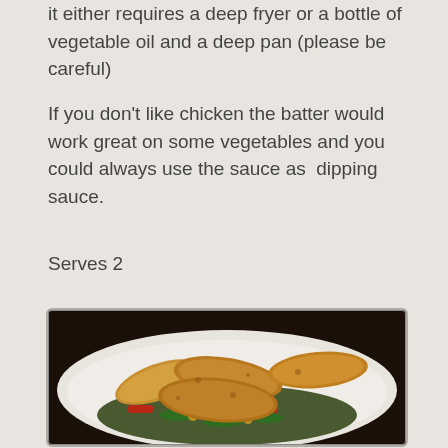it either requires a deep fryer or a bottle of vegetable oil and a deep pan (please be careful)
If you don’t like chicken the batter would work great on some vegetables and you could always use the sauce as  dipping sauce.
Serves 2
[Figure (photo): A plate of battered fried chicken pieces served over stir-fried vegetables including red peppers, green vegetables, and corn]